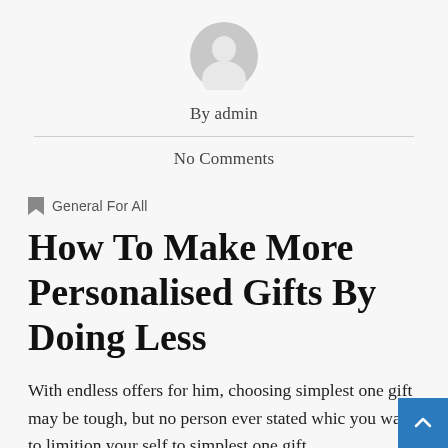[Figure (illustration): Gray circular user avatar icon centered at top of page]
By admin
No Comments
General For All
How To Make More Personalised Gifts By Doing Less
With endless offers for him, choosing simplest one gift may be tough, but no person ever stated which you want to limition your self to simplest one gift,